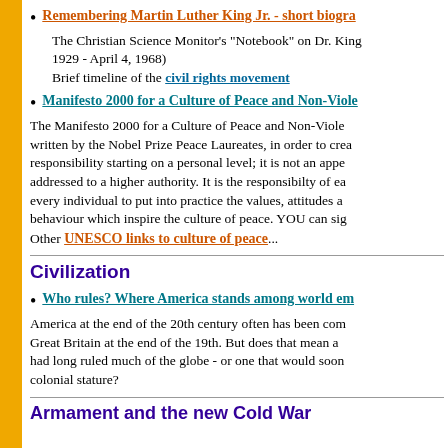Remembering Martin Luther King Jr. - short biogra...
The Christian Science Monitor's "Notebook" on Dr. King 1929 - April 4, 1968)
Brief timeline of the civil rights movement
Manifesto 2000 for a Culture of Peace and Non-Viole...
The Manifesto 2000 for a Culture of Peace and Non-Viole... written by the Nobel Prize Peace Laureates, in order to crea... responsibility starting on a personal level; it is not an appe... addressed to a higher authority. It is the responsibilty of ea... every individual to put into practice the values, attitudes a... behaviour which inspire the culture of peace. YOU can si... Other UNESCO links to culture of peace...
Civilization
Who rules? Where America stands among world em...
America at the end of the 20th century often has been com... Great Britain at the end of the 19th. But does that mean a... had long ruled much of the globe - or one that would soon... colonial stature?
Armament and the new Cold War